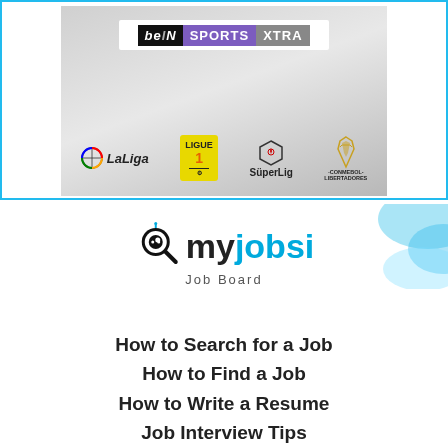[Figure (logo): beIN SPORTS XTRA advertisement banner showing LaLiga, Ligue 1, SüperLig, and CONMEBOL Libertadores logos on a grey gradient background]
[Figure (logo): myjobsi Job Board logo - magnifying glass icon with 'my' in black and 'jobsi' in blue, 'Job Board' subtitle below]
How to Search for a Job
How to Find a Job
How to Write a Resume
Job Interview Tips